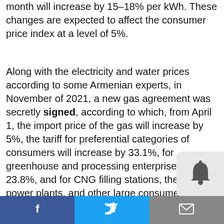month will increase by 15–18% per kWh. These changes are expected to affect the consumer price index at a level of 5%.
Along with the electricity and water prices according to some Armenian experts, in November of 2021, a new gas agreement was secretly signed, according to which, from April 1, the import price of the gas will increase by 5%, the tariff for preferential categories of consumers will increase by 33.1%, for greenhouse and processing enterprises by 23.8%, and for CNG filling stations, thermal power plants, and other large consumers by 8.3%. The tariff for g... consumers up to 10 thousand cubic mete...
[Figure (other): Bell notification icon on a light gray rounded rectangle background]